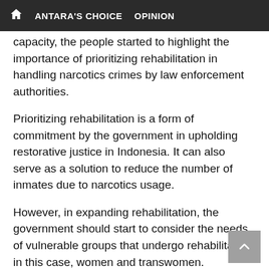🏠  ANTARA'S CHOICE   OPINION
capacity, the people started to highlight the importance of prioritizing rehabilitation in handling narcotics crimes by law enforcement authorities.
Prioritizing rehabilitation is a form of commitment by the government in upholding restorative justice in Indonesia. It can also serve as a solution to reduce the number of inmates due to narcotics usage.
However, in expanding rehabilitation, the government should start to consider the needs of vulnerable groups that undergo rehabilitation, in this case, women and transwomen.